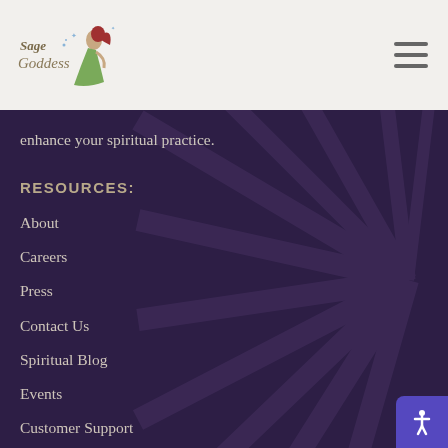[Figure (logo): Sage Goddess logo with a woman in green dress sitting, stylized text 'Sage Goddess']
enhance your spiritual practice.
RESOURCES:
About
Careers
Press
Contact Us
Spiritual Blog
Events
Customer Support
JOURNEY THROUGH THE SHOP: